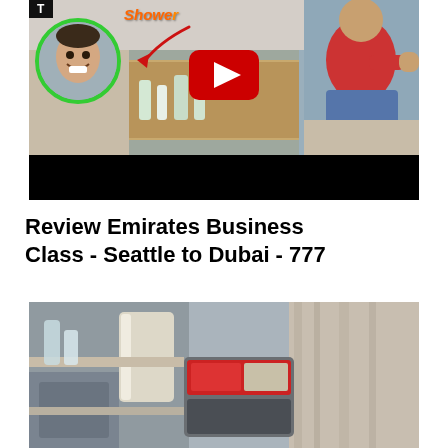[Figure (screenshot): YouTube video thumbnail showing Emirates First/Business Class shower spa review. Features a man smiling in a green circle on left, 'Shower' text in orange cursive with red arrow, YouTube play button in center, person in red shirt and jeans seated on right, gold/wood interior visible, black letterbox bar at bottom.]
Review Emirates Business Class - Seattle to Dubai - 777
[Figure (photo): Photo of Emirates Business Class cabin interior showing a seat area with beige/grey curtain on the right, illuminated seat panel with white light strip, grey seat components, and a seat pocket with reading materials including what appears to be a red magazine.]